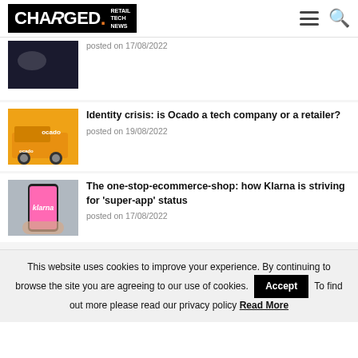CHARGED. RETAIL TECH NEWS
[Figure (photo): Cropped article thumbnail image (popcorn/flowers on dark background)]
posted on 17/08/2022
[Figure (photo): Ocado branded delivery truck - orange and white with Ocado logo]
Identity crisis: is Ocado a tech company or a retailer?
posted on 19/08/2022
[Figure (photo): Hand holding a smartphone with pink Klarna app screen]
The one-stop-ecommerce-shop: how Klarna is striving for 'super-app' status
posted on 17/08/2022
This website uses cookies to improve your experience. By continuing to browse the site you are agreeing to our use of cookies. Accept To find out more please read our privacy policy Read More